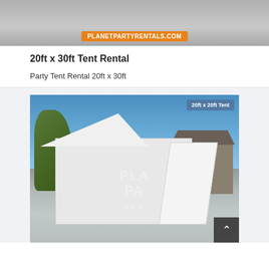[Figure (photo): Top portion of a tent rental photo with planetpartyrentals.com orange badge overlay at the bottom]
20ft x 30ft Tent Rental
Party Tent Rental 20ft x 30ft
[Figure (photo): Photo of a white 20ft x 20ft party tent set up outdoors against a blue sky, with trees and a house visible in the background. Watermark text reads PLANET PARTY Rentals. A label in the upper right reads '20ft x 20ft Tent'. A dark scroll-to-top button appears in the lower right corner.]